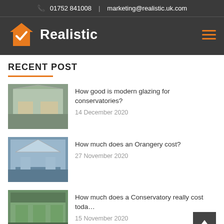01752 841008 | marketing@realistic.uk.com
[Figure (logo): Realistic logo with orange house icon and white bold text 'Realistic' on dark background]
RECENT POST
How good is modern glazing for conservatories? — 14 December 2020
How much does an Orangery cost? — 27 November 2020
How much does a Conservatory really cost toda… — 15 November 2020